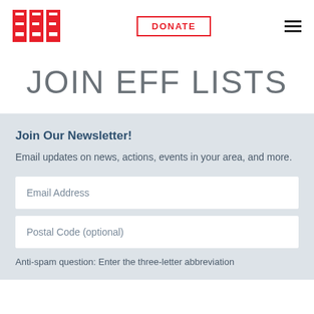[Figure (logo): EFF logo in red block letters]
[Figure (other): DONATE button with red border and red text]
[Figure (other): Hamburger menu icon with three horizontal black lines]
JOIN EFF LISTS
Join Our Newsletter!
Email updates on news, actions, events in your area, and more.
Email Address
Postal Code (optional)
Anti-spam question: Enter the three-letter abbreviation